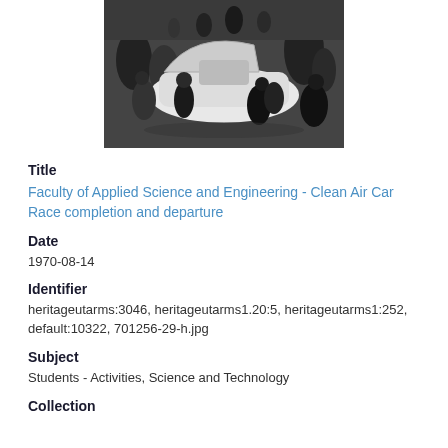[Figure (photo): Black and white photograph of people gathered around a white car, appearing to be working on it during the Clean Air Car Race]
Title
Faculty of Applied Science and Engineering - Clean Air Car Race completion and departure
Date
1970-08-14
Identifier
heritageutarms:3046, heritageutarms1.20:5, heritageutarms1:252, default:10322, 701256-29-h.jpg
Subject
Students - Activities, Science and Technology
Collection